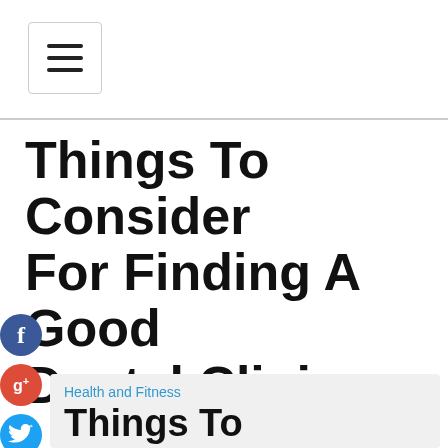☰ (hamburger menu button)
Things To Consider For Finding A Good Dental Clinic
[Figure (infographic): Social share buttons: Facebook (blue circle with f), Google+ (red circle with g+), Twitter (blue circle with bird), Plus/Share (dark circle with +)]
Health and Fitness
Things To